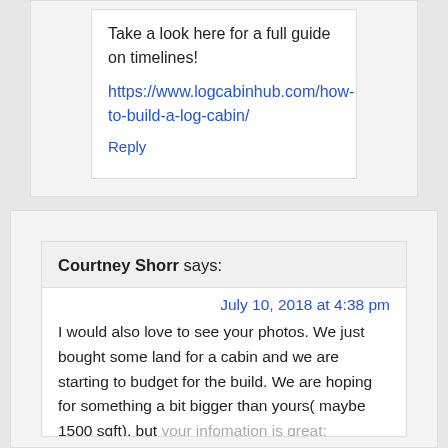Take a look here for a full guide on timelines!
https://www.logcabinhub.com/how-to-build-a-log-cabin/
Reply
Courtney Shorr says:
July 10, 2018 at 4:38 pm
I would also love to see your photos. We just bought some land for a cabin and we are starting to budget for the build. We are hoping for something a bit bigger than yours( maybe 1500 sqft), but your infomation is great:
Reply